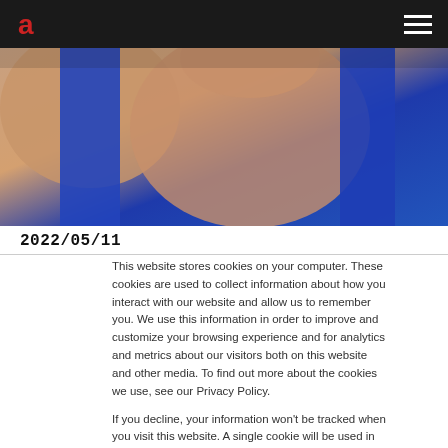[Figure (photo): Photo of a person wearing a blue tank top, showing chest and shoulders, cropped view]
2022/05/11
This website stores cookies on your computer. These cookies are used to collect information about how you interact with our website and allow us to remember you. We use this information in order to improve and customize your browsing experience and for analytics and metrics about our visitors both on this website and other media. To find out more about the cookies we use, see our Privacy Policy.

If you decline, your information won't be tracked when you visit this website. A single cookie will be used in your browser to remember your preference not to be tracked.
Accept
Decline